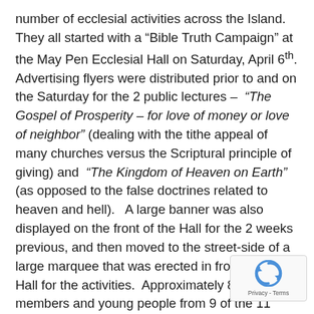number of ecclesial activities across the Island.  They all started with a “Bible Truth Campaign” at the May Pen Ecclesial Hall on Saturday, April 6th. Advertising flyers were distributed prior to and on the Saturday for the 2 public lectures – “The Gospel of Prosperity – for love of money or love of neighbor” (dealing with the tithe appeal of many churches versus the Scriptural principle of giving) and “The Kingdom of Heaven on Earth” (as opposed to the false doctrines related to heaven and hell).   A large banner was also displayed on the front of the Hall for the 2 weeks previous, and then moved to the street-side of a large marquee that was erected in front of the Hall for the activities.  Approximately 80 members and young people from 9 of the 11 ecclesias arrived in the morning for flyer distribution.  After a hot lunch, the first talk was presented at 3 pm with some regular visitors present.  In the late afternoon, a session of the daily Bible Readings took under the marquee followed by sandwiches and the second lecture at 7:30.  Six first-time visitors were in